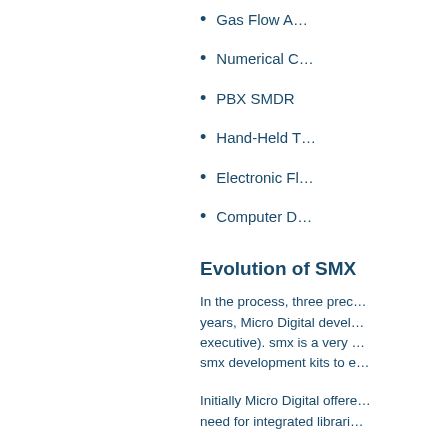Gas Flow A…
Numerical C…
PBX SMDR
Hand-Held T…
Electronic Fl…
Computer D…
Evolution of SMX
In the process, three prec… years, Micro Digital devel… executive). smx is a very … smx development kits to e…
Initially Micro Digital offere… need for integrated librari…